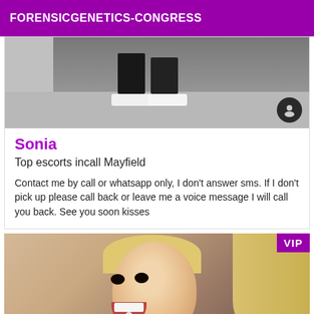FORENSICGENETICS-CONGRESS
[Figure (photo): Photo showing lower body/legs of a person walking on a street, wearing dark pants and white shoes]
Sonia
Top escorts incall Mayfield
Contact me by call or whatsapp only, I don't answer sms. If I don't pick up please call back or leave me a voice message I will call you back. See you soon kisses
[Figure (photo): Photo of a blonde woman with heavy eye makeup, mouth open, tongue piercing visible, looking at camera]